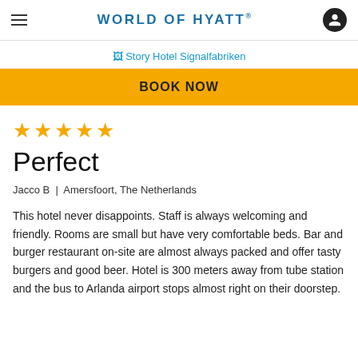WORLD OF HYATT®
[Figure (screenshot): Broken image placeholder for Story Hotel Signalfabriken with teal link text]
[Figure (other): BOOK NOW button in gold/amber background]
[Figure (other): Five gold star rating icons]
Perfect
Jacco B  |  Amersfoort, The Netherlands
This hotel never disappoints. Staff is always welcoming and friendly. Rooms are small but have very comfortable beds. Bar and burger restaurant on-site are almost always packed and offer tasty burgers and good beer. Hotel is 300 meters away from tube station and the bus to Arlanda airport stops almost right on their doorstep.